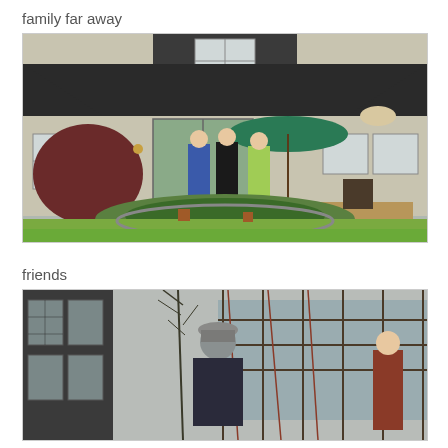family far away
[Figure (photo): Backyard scene of a two-story house with gray siding and black roof. Three people stand on or near a wooden deck with a green patio umbrella. A large circular garden bed with lush green plants and shrubs is in the foreground on a lawn.]
friends
[Figure (photo): Outdoor scene with a person wearing a gray helmet/hat and dark jacket, surrounded by bare winter trees and a pergola or trellis structure with vines. A building with metal-framed windows is visible on the left.]